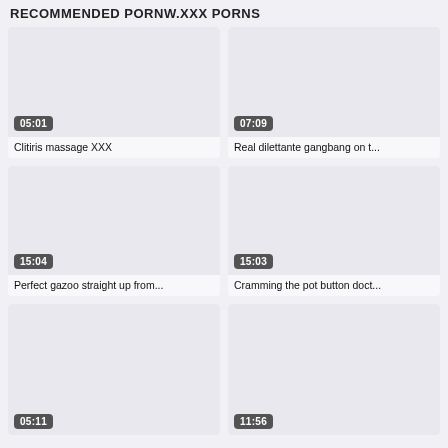RECOMMENDED PORNW.XXX PORNS
[Figure (screenshot): Video thumbnail placeholder, light gray, duration 05:01]
Clitiris massage XXX
[Figure (screenshot): Video thumbnail placeholder, light gray, duration 07:09]
Real dilettante gangbang on t...
[Figure (screenshot): Video thumbnail placeholder, light gray, duration 15:04]
Perfect gazoo straight up from...
[Figure (screenshot): Video thumbnail placeholder, light gray, duration 15:03]
Cramming the pot button doct...
[Figure (screenshot): Video thumbnail placeholder, light gray, duration 05:11]
[Figure (screenshot): Video thumbnail placeholder, light gray, duration 11:56]